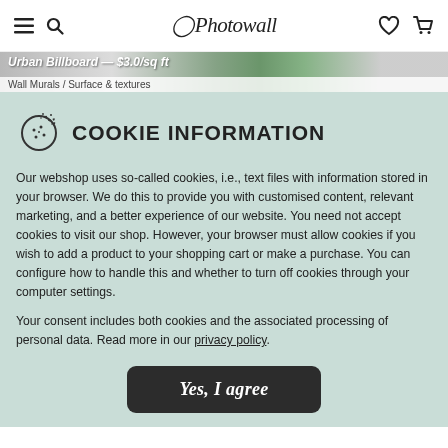Photowall — hamburger menu, search, wishlist, cart icons
[Figure (screenshot): Product page background showing Urban Billboard wallpaper with green hedge and white walls, with breadcrumb: Wall Murals / Surface & textures]
COOKIE INFORMATION
Our webshop uses so-called cookies, i.e., text files with information stored in your browser. We do this to provide you with customised content, relevant marketing, and a better experience of our website. You need not accept cookies to visit our shop. However, your browser must allow cookies if you wish to add a product to your shopping cart or make a purchase. You can configure how to handle this and whether to turn off cookies through your computer settings.
Your consent includes both cookies and the associated processing of personal data. Read more in our privacy policy.
Yes, I agree